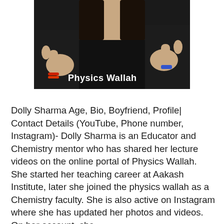[Figure (photo): A woman wearing a black Physics Wallah t-shirt giving thumbs up with both hands. She has long dark hair and is wearing red bangles on one wrist and a blue bracelet on the other.]
Dolly Sharma Age, Bio, Boyfriend, Profile| Contact Details (YouTube, Phone number, Instagram)- Dolly Sharma is an Educator and Chemistry mentor who has shared her lecture videos on the online portal of Physics Wallah. She started her teaching career at Aakash Institute, later she joined the physics wallah as a Chemistry faculty. She is also active on Instagram where she has updated her photos and videos. On her account, she has a large number of followers.